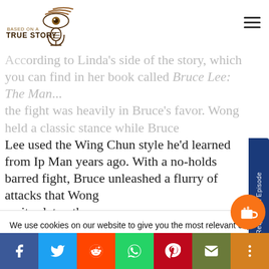Based on a True Story (logo)
ee... and what we say on screen. According to Linda's side of the story, which you can find in her book called Bruce Lee: The Man... the fight was heavily in Bruce's favor. Wong held a classic stance while Bruce Lee used the Wing Chun style he'd learned from Ip Man years ago. With a no-holds barred fight, Bruce unleashed a flurry of attacks that Wong ... ites later, the ... or the fight to ... was three
We use cookies on our website to give you the most relevant experience by remembering your preferences and repeat visits. By clicking "Accept", you consent to the use of ALL the cookies.
Cookie settings   ACCEPT